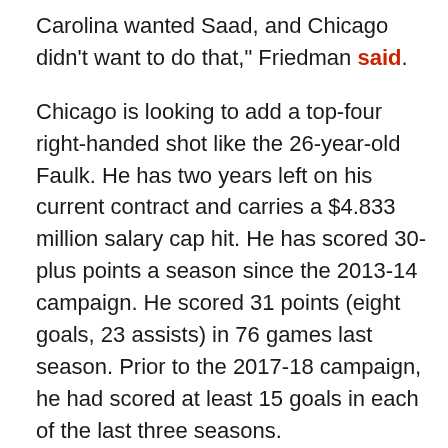Carolina wanted Saad, and Chicago didn't want to do that," Friedman said.
Chicago is looking to add a top-four right-handed shot like the 26-year-old Faulk. He has two years left on his current contract and carries a $4.833 million salary cap hit. He has scored 30-plus points a season since the 2013-14 campaign. He scored 31 points (eight goals, 23 assists) in 76 games last season. Prior to the 2017-18 campaign, he had scored at least 15 goals in each of the last three seasons.
Carolina would be open to trading Faulk after signing free agent defenseman Calvin de Haan, 27, to a four-year contract worth a total of $18.2 million. De Haan tallied a goal and 11 assists in 33 games with the New York Islanders last season, but missed the final 49